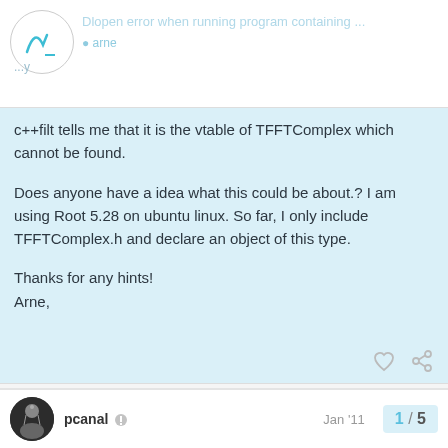Dlopen error when running program containing ...
c++filt tells me that it is the vtable of TFFTComplex which cannot be found.

Does anyone have a idea what this could be about.? I am using Root 5.28 on ubuntu linux. So far, I only include TFFTComplex.h and declare an object of this type.

Thanks for any hints!
Arne,
created  Jan '11
last reply  Jan '11
4 replies
pcanal  Jan '11
1 / 5